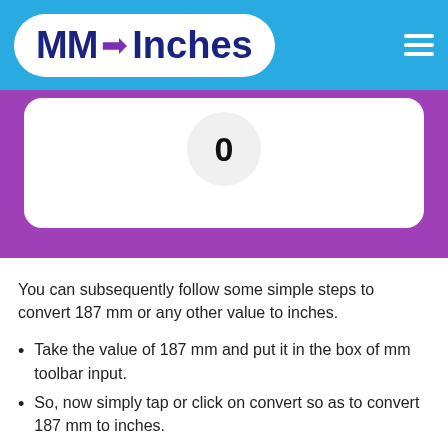MM → Inches
[Figure (other): Input converter box showing value 0 in a circle, on a purple background with white rounded rectangle inner panel]
You can subsequently follow some simple steps to convert 187 mm or any other value to inches.
Take the value of 187 mm and put it in the box of mm toolbar input.
So, now simply tap or click on convert so as to convert 187 mm to inches.
You will subsequently end up getting the converted value of 187 mm to inches.